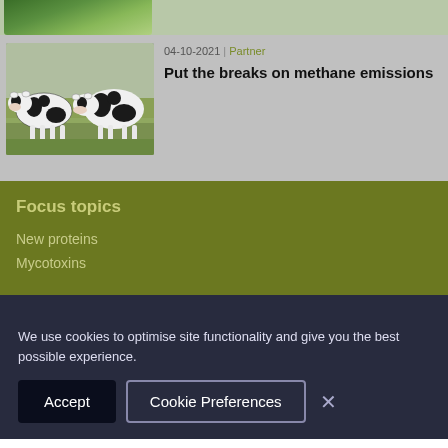[Figure (photo): Partial green plant/foliage image strip at top]
[Figure (photo): Dairy cows standing in a grassy field]
04-10-2021 | Partner
Put the breaks on methane emissions
Focus topics
New proteins
Mycotoxins
We use cookies to optimise site functionality and give you the best possible experience.
Accept
Cookie Preferences